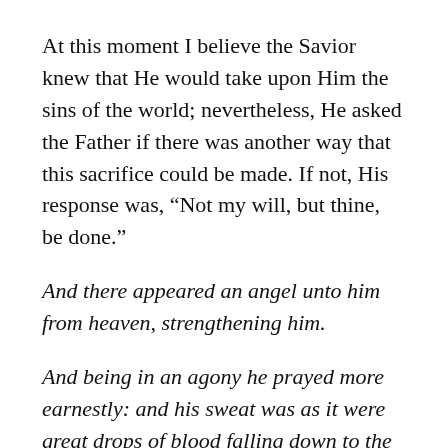At this moment I believe the Savior knew that He would take upon Him the sins of the world; nevertheless, He asked the Father if there was another way that this sacrifice could be made. If not, His response was, “Not my will, but thine, be done.”
And there appeared an angel unto him from heaven, strengthening him.
And being in an agony he prayed more earnestly: and his sweat was as it were great drops of blood falling down to the ground. [Luke 22:43–44]
The Savior felt the pain of our sins. You know